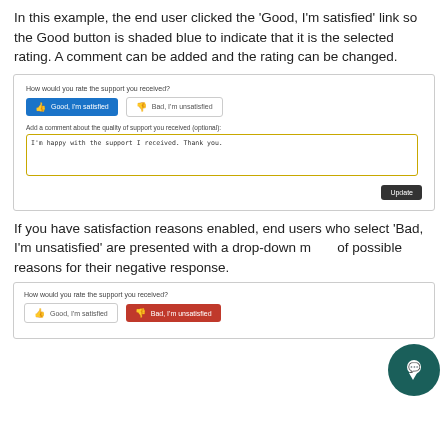In this example, the end user clicked the 'Good, I'm satisfied' link so the Good button is shaded blue to indicate that it is the selected rating. A comment can be added and the rating can be changed.
[Figure (screenshot): Screenshot of a satisfaction rating widget. It shows 'How would you rate the support you received?' with a blue 'Good, I'm satisfied' button selected and a grey 'Bad, I'm unsatisfied' button. A text area contains 'I'm happy with the support I received. Thank you.' and an 'Update' button is at the bottom right.]
If you have satisfaction reasons enabled, end users who select 'Bad, I'm unsatisfied' are presented with a drop-down menu of possible reasons for their negative response.
[Figure (screenshot): Screenshot of a satisfaction rating widget showing 'How would you rate the support you received?' with a grey 'Good, I'm satisfied' button and a red 'Bad, I'm unsatisfied' button selected.]